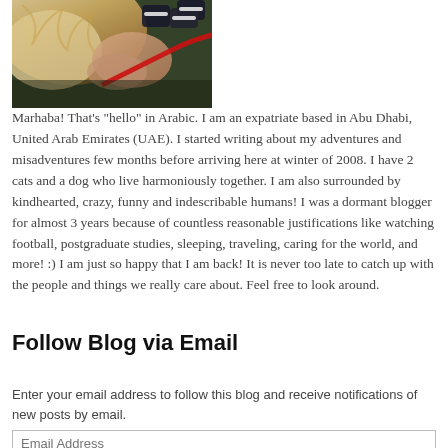[Figure (photo): A golden/light-colored dog being held, wearing what appear to be shoes or booties, with a red leash visible, outdoors on grass.]
Marhaba! That's "hello" in Arabic. I am an expatriate based in Abu Dhabi, United Arab Emirates (UAE). I started writing about my adventures and misadventures few months before arriving here at winter of 2008. I have 2 cats and a dog who live harmoniously together. I am also surrounded by kindhearted, crazy, funny and indescribable humans! I was a dormant blogger for almost 3 years because of countless reasonable justifications like watching football, postgraduate studies, sleeping, traveling, caring for the world, and more! :) I am just so happy that I am back! It is never too late to catch up with the people and things we really care about. Feel free to look around.
Follow Blog via Email
Enter your email address to follow this blog and receive notifications of new posts by email.
Email Address